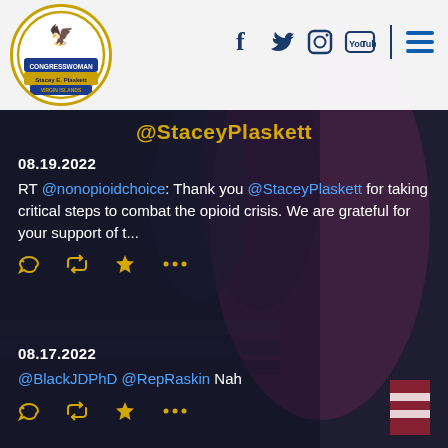[Figure (screenshot): Government website screenshot for Congresswoman Stacey E. Plaskett, Virgin Islands, showing Twitter feed with header bar, logo, social media icons, and two tweet entries on a dark photo background.]
Congresswoman Stacey E. Plaskett - Virgin Islands
@StaceyPlaskett
08.19.2022
RT @nonopioidchoice: Thank you @StaceyPlaskett for taking critical steps to combat the opioid crisis. We are grateful for your support of t...
08.17.2022
@BlackJDPhD @RepRaskin Nah